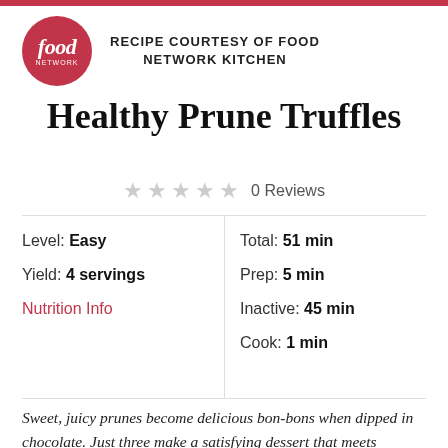[Figure (logo): Food Network circular logo - red circle with 'food network' text in white]
RECIPE COURTESY OF FOOD NETWORK KITCHEN
Healthy Prune Truffles
★ ★ ★ ★ ★ 0 Reviews
Level: Easy
Yield: 4 servings
Nutrition Info
Total: 51 min
Prep: 5 min
Inactive: 45 min
Cook: 1 min
Sweet, juicy prunes become delicious bon-bons when dipped in chocolate. Just three make a satisfying dessert that meets nutritional goals for